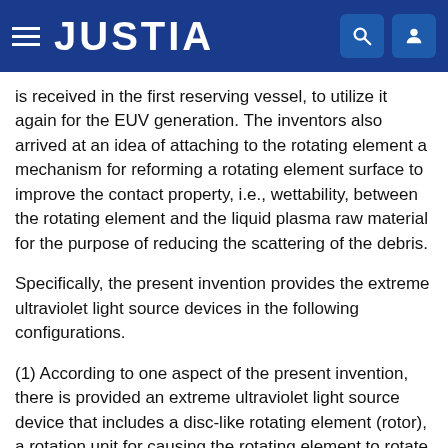JUSTIA
is received in the first reserving vessel, to utilize it again for the EUV generation. The inventors also arrived at an idea of attaching to the rotating element a mechanism for reforming a rotating element surface to improve the contact property, i.e., wettability, between the rotating element and the liquid plasma raw material for the purpose of reducing the scattering of the debris.
Specifically, the present invention provides the extreme ultraviolet light source devices in the following configurations.
(1) According to one aspect of the present invention, there is provided an extreme ultraviolet light source device that includes a disc-like rotating element (rotor), a rotation unit for causing the rotating element to rotate about a rotation center shaft, which is perpendicular to a flat portion of the rotating element, a cover-like